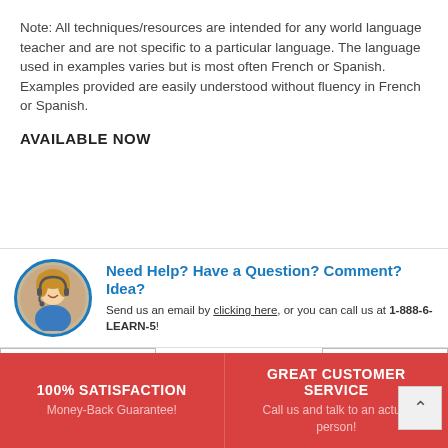Note: All techniques/resources are intended for any world language teacher and are not specific to a particular language. The language used in examples varies but is most often French or Spanish. Examples provided are easily understood without fluency in French or Spanish.
AVAILABLE NOW
[Figure (infographic): Customer support representative icon with circular blue border, alongside help text reading 'Need Help? Have a Question? Comment? Idea?' and 'Send us an email by clicking here, or you can call us at 1-888-6-LEARN-5!']
« previous
next »
100% SATISFACTION
Money-Back Guarantee!
GREAT CUSTOMER SERVICE
Call us and talk to an actual person!